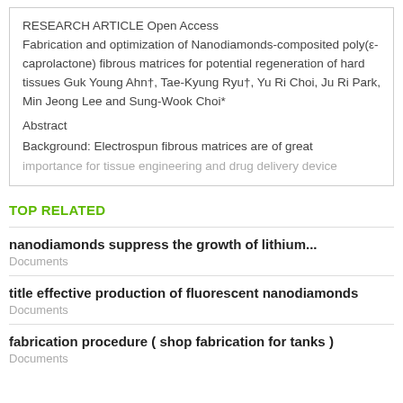RESEARCH ARTICLE Open Access
Fabrication and optimization of Nanodiamonds-composited poly(ε- caprolactone) fibrous matrices for potential regeneration of hard tissues Guk Young Ahn†, Tae-Kyung Ryu†, Yu Ri Choi, Ju Ri Park, Min Jeong Lee and Sung-Wook Choi*
Abstract
Background: Electrospun fibrous matrices are of great importance for tissue engineering and drug delivery device
TOP RELATED
nanodiamonds suppress the growth of lithium...
Documents
title effective production of fluorescent nanodiamonds
Documents
fabrication procedure ( shop fabrication for tanks )
Documents